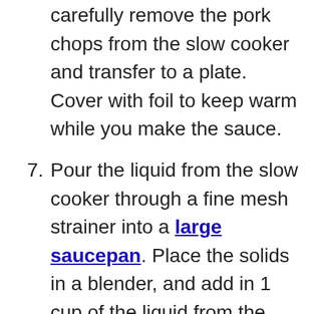carefully remove the pork chops from the slow cooker and transfer to a plate. Cover with foil to keep warm while you make the sauce.
7. Pour the liquid from the slow cooker through a fine mesh strainer into a large saucepan. Place the solids in a blender, and add in 1 cup of the liquid from the saucepan. Blend on high until smooth. Pour this mixture back into the saucepan and heat to